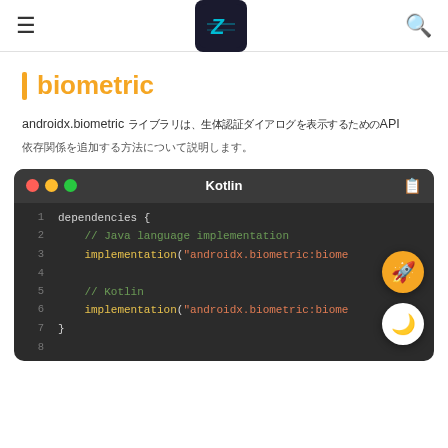biometric - Kotlin documentation
biometric
androidx.biometric ライブラリは、生体認証ダイアログを表示するためのAPI
依存関係を追加する方法について説明します。
[Figure (screenshot): Kotlin code block showing biometric dependency setup with dependencies { // Java language implementation implementation("androidx.biometric:biome...") // Kotlin implementation("androidx.biometric:biome...") }]